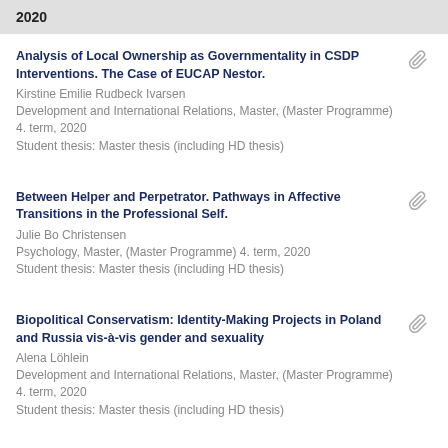2020
Analysis of Local Ownership as Governmentality in CSDP Interventions. The Case of EUCAP Nestor.
Kirstine Emilie Rudbeck Ivarsen
Development and International Relations, Master, (Master Programme) 4. term, 2020
Student thesis: Master thesis (including HD thesis)
Between Helper and Perpetrator. Pathways in Affective Transitions in the Professional Self.
Julie Bo Christensen
Psychology, Master, (Master Programme) 4. term, 2020
Student thesis: Master thesis (including HD thesis)
Biopolitical Conservatism: Identity-Making Projects in Poland and Russia vis-à-vis gender and sexuality
Alena Löhlein
Development and International Relations, Master, (Master Programme) 4. term, 2020
Student thesis: Master thesis (including HD thesis)
Black Stetsons, Revenge of the Epics, and Bloody Poetic Justice: A Study of Quentin Tarantino's Exploitation of Aestheticized Violence